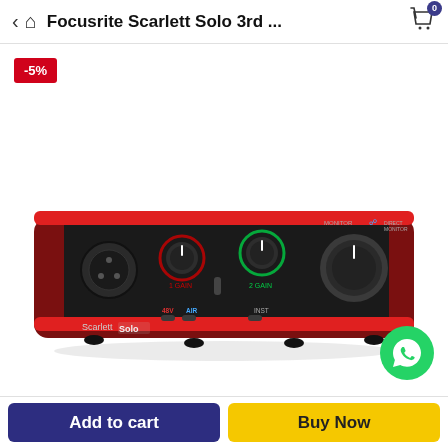Focusrite Scarlett Solo 3rd ...
[Figure (photo): Focusrite Scarlett Solo 3rd generation USB audio interface, red and black, showing front panel with XLR input, gain knobs, headphone output, and monitor volume knob. A WhatsApp icon is overlaid in the bottom-right corner.]
-5%
Add to cart
Buy Now